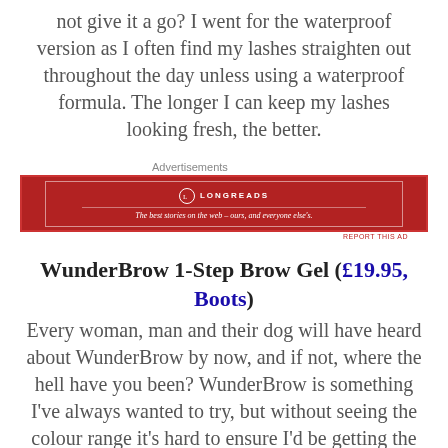not give it a go? I went for the waterproof version as I often find my lashes straighten out throughout the day unless using a waterproof formula. The longer I can keep my lashes looking fresh, the better.
[Figure (other): Longreads advertisement banner: red background with Longreads logo and tagline 'The best stories on the web – ours, and everyone else's.']
WunderBrow 1-Step Brow Gel (£19.95, Boots)
Every woman, man and their dog will have heard about WunderBrow by now, and if not, where the hell have you been? WunderBrow is something I've always wanted to try, but without seeing the colour range it's hard to ensure I'd be getting the right colour. I will say, as someone with blonde hair and who usually uses medium brown in Anastasia